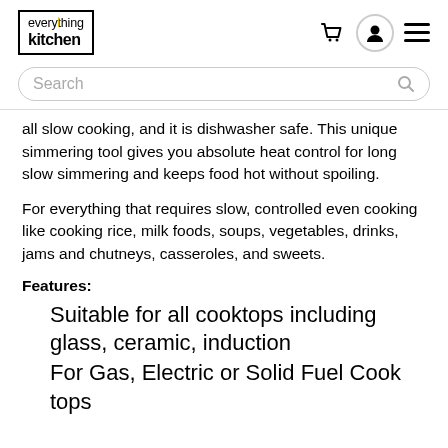everything kitchen
all slow cooking, and it is dishwasher safe. This unique simmering tool gives you absolute heat control for long slow simmering and keeps food hot without spoiling.
For everything that requires slow, controlled even cooking like cooking rice, milk foods, soups, vegetables, drinks, jams and chutneys, casseroles, and sweets.
Features:
Suitable for all cooktops including glass, ceramic, induction
For Gas, Electric or Solid Fuel Cook tops